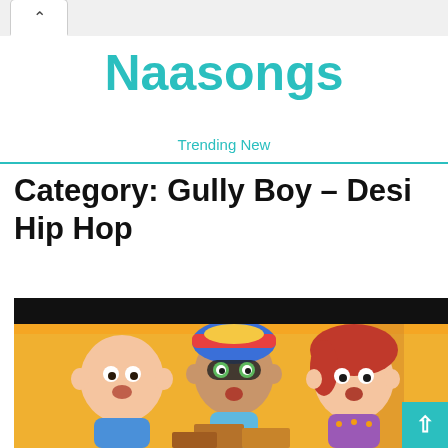^
Naasongs
Trending New
Category: Gully Boy – Desi Hip Hop
[Figure (illustration): Animated cartoon characters — three children in animated style against a yellow/orange background. A bald baby on the left, a child with colorful goggles/hat in the center, and a girl with red hair on the right. Black bar at top of image area.]